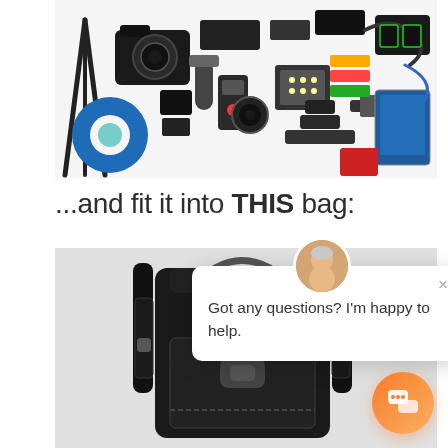[Figure (photo): Flat lay photo of camera equipment and accessories spread out on a white surface, including a DSLR camera, tripod, lenses, microphone, audio recorder, LED panel, cables, batteries, and various other filmmaking/photography gear.]
...and fit it into THIS bag:
[Figure (photo): Photo of a large black camera/video backpack standing upright with shoulder straps and side pockets visible, photographed against a white background.]
[Figure (screenshot): Chat widget popup with a circular avatar photo of a smiling woman, a close X button, and the text 'Got any questions? I'm happy to help.' with an orange circular chat button in the bottom right corner.]